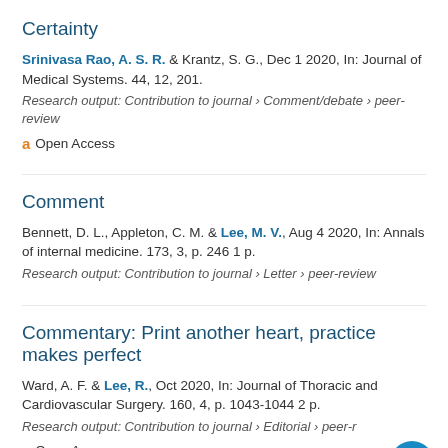Certainty
Srinivasa Rao, A. S. R. & Krantz, S. G., Dec 1 2020, In: Journal of Medical Systems. 44, 12, 201.
Research output: Contribution to journal › Comment/debate › peer-review
Open Access
Comment
Bennett, D. L., Appleton, C. M. & Lee, M. V., Aug 4 2020, In: Annals of internal medicine. 173, 3, p. 246 1 p.
Research output: Contribution to journal › Letter › peer-review
Commentary: Print another heart, practice makes perfect
Ward, A. F. & Lee, R., Oct 2020, In: Journal of Thoracic and Cardiovascular Surgery. 160, 4, p. 1043-1044 2 p.
Research output: Contribution to journal › Editorial › peer-review
Open Access